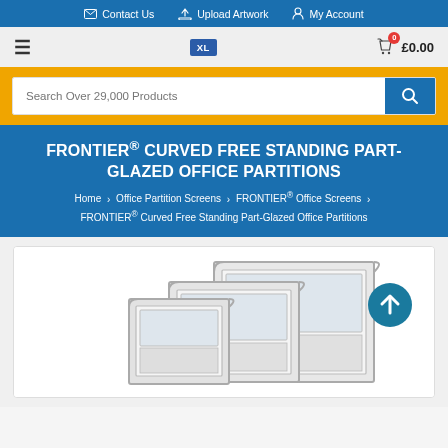Contact Us | Upload Artwork | My Account
☰  XL  £0.00
Search Over 29,000 Products
FRONTIER® CURVED FREE STANDING PART-GLAZED OFFICE PARTITIONS
Home > Office Partition Screens > FRONTIER® Office Screens > FRONTIER® Curved Free Standing Part-Glazed Office Partitions
[Figure (photo): Product photo showing multiple curved free standing part-glazed office partition panels of different sizes, silver/chrome frames with frosted glass upper sections, displayed at an angle against a white background. A teal scroll-to-top arrow button is visible in the top right corner of the image card.]